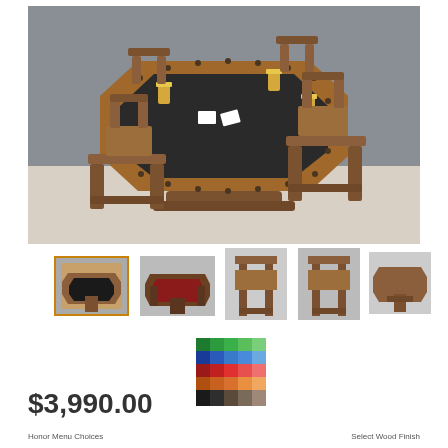[Figure (photo): Rustic wooden poker/game table set with octagonal top, black felt playing surface, decorative nailhead trim, and four matching solid wood chairs. Glasses of beer on table. Gray background, light floor.]
[Figure (photo): Thumbnail 1 (selected/highlighted): Same poker table set from slightly different angle, with orange border indicating selection.]
[Figure (photo): Thumbnail 2: Similar poker table set with red felt, different chairs.]
[Figure (photo): Thumbnail 3: Single wooden chair close-up.]
[Figure (photo): Thumbnail 4: Single wooden chair, front view.]
[Figure (photo): Thumbnail 5: Octagonal table top view from above.]
[Figure (photo): Thumbnail 6: Color swatch grid showing many fabric/finish color options (greens, blues, reds, oranges, browns, blacks, etc.).]
$3,990.00
Honor Menu Choices                Select Wood Finish